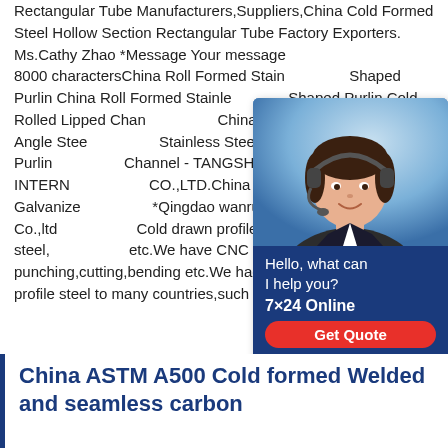Rectangular Tube Manufacturers,Suppliers,China Cold Formed Steel Hollow Section Rectangular Tube Factory Exporters. Ms.Cathy Zhao *Message Your message is limited to 8000 charactersChina Roll Formed Stainless Steel C Shaped Purlin China Roll Formed Stainless Steel C Shaped Purlin Cold Rolled Lipped Channel China C Channle,Hot Rolled Angle Steel Stainless Steel Profile C Shaped Purlin C Channel - TANGSHAN XINGJI INTERNATIONAL TRADING CO.,LTD.China Manufacturer Galvanized *Qingdao wanrunda imp and exp Co.,ltd Cold drawn profile steel,include U steel,C steel, etc.We have CNC machines,we can do punching,cutting,bending etc.We had exported our cold formed profile steel to many countries,such as
[Figure (other): Chat widget with photo of a woman wearing a headset, text 'Hello, what can I help you?', '7x24 Online', 'Get Quote' button, and email 'bsteel1@163.com' on a dark blue background.]
China ASTM A500 Cold formed Welded and seamless carbon